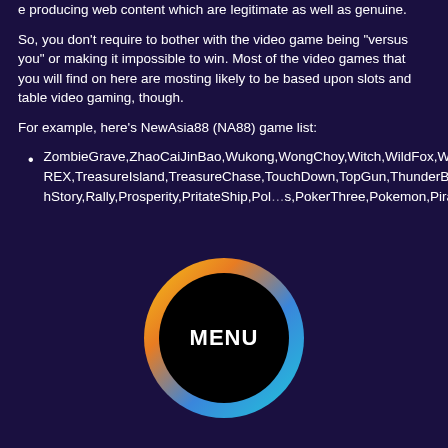e producing web content which are legitimate as well as genuine.
So, you don't require to bother with the video game being "versus you" or making it impossible to win. Most of the video games that you will find on here are mosting likely to be based upon slots and table video gaming, though.
For example, here's NewAsia88 (NA88) game list:
ZombieGrave,ZhaoCaiJinBao,Wukong,WongChoy,Witch,WildFox,WesternRanch,Wealth,WaterMargin,Victory,Unicons,Twister,T-REX,TreasureIsland,TreasureChase,TouchDown,TopGun,ThunderBold,ThreeKingdoms,TheDiscovery,Thai,TallyHo,StoneAge,SteamTower,Spartan,Spartan,SinglePick,Silver,SicBo,ShiningStars,Shark,SeaWorld,Seasons,SeaCaptain,Samurai,SAFARIHeat,Roulettle73,Roulettle24,Roulettle12,Roulettle,RobinHood,ReelClassic,PubStory,Rally,Prosperity,PritateShip,PolaThunder,PokerThree,Pokemon,Pirate,Phoenix,PantherMoon,PanjinLian,Panda,Oz,Ox,Odyssero,OceanParadise,OceanKing,NianNianYouYu,MysticChina,MotorBike,MonkeyStory,MonkeySlots,MoneyFever,MoneyBunny,MagicalSpin,LUPIN,LiKuiPiYu,License